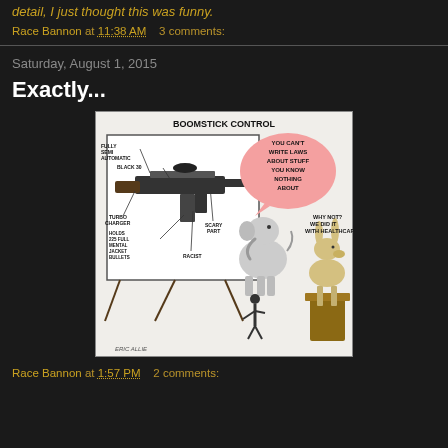detail, I just thought this was funny.
Race Bannon at 11:38 AM    3 comments:
Saturday, August 1, 2015
Exactly...
[Figure (illustration): Political cartoon titled 'BOOMSTICK CONTROL' showing labeled parts of a gun on a presentation board with labels like 'FULLY SEMI AUTOMATIC', 'BLACK 30', 'TURBO CHARGER', 'HOLDS 225 FULL MENTAL JACKET BULLETS', 'SCARY PART', 'RACIST'. A Republican elephant figure stands at the board. A donkey figure at a podium says 'YOU CAN'T WRITE LAWS ABOUT STUFF YOU KNOW NOTHING ABOUT'. The donkey responds 'WHY NOT? WE DID IT WITH HEALTHCARE'. Signed by ERIC ALLIE.]
Race Bannon at 1:57 PM    2 comments: